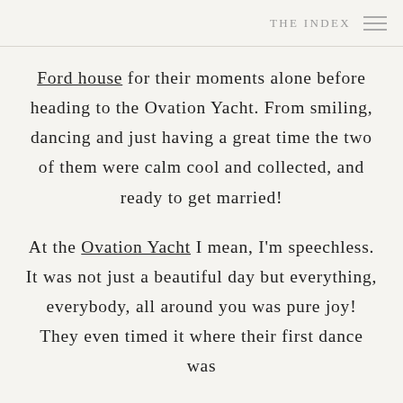THE INDEX
Ford house for their moments alone before heading to the Ovation Yacht. From smiling, dancing and just having a great time the two of them were calm cool and collected, and ready to get married!
At the Ovation Yacht I mean, I'm speechless. It was not just a beautiful day but everything, everybody, all around you was pure joy! They even timed it where their first dance was